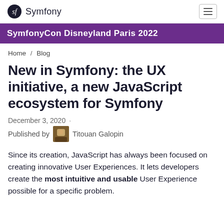Symfony
SymfonyCon Disneyland Paris 2022
Home / Blog
New in Symfony: the UX initiative, a new JavaScript ecosystem for Symfony
December 3, 2020 · Published by Titouan Galopin
Since its creation, JavaScript has always been focused on creating innovative User Experiences. It lets developers create the most intuitive and usable User Experience possible for a specific problem.